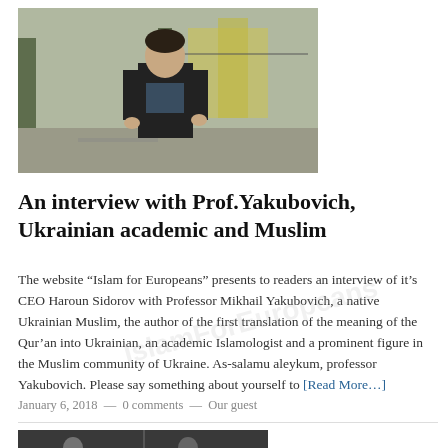[Figure (photo): A man standing outdoors on a street, wearing a dark jacket, with trees and a building visible in the background. Black and white/color photograph.]
An interview with Prof.Yakubovich, Ukrainian academic and Muslim
The website “Islam for Europeans” presents to readers an interview of it’s CEO Haroun Sidorov with Professor Mikhail Yakubovich, a native Ukrainian Muslim, the author of the first translation of the meaning of the Qur’an into Ukrainian, an academic Islamologist and a prominent figure in the Muslim community of Ukraine. As-salamu aleykum, professor Yakubovich. Please say something about yourself to [Read More…]
January 6, 2018  —  0 comments  —  Our guest
[Figure (photo): A historical black and white photograph showing two people.]